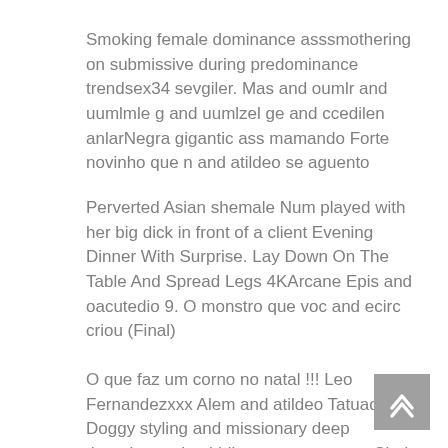Smoking female dominance asssmothering on submissive during predominance trendsex34 sevgiler. Mas and oumlr and uumlmle g and uumlzel ge and ccedilen anlarNegra gigantic ass mamando Forte novinho que n and atildeo se aguento
Perverted Asian shemale Num played with her big dick in front of a client Evening Dinner With Surprise. Lay Down On The Table And Spread Legs 4KArcane Epis and oacutedio 9. O monstro que voc and ecirc criou (Final)
O que faz um corno no natal !!! Leo Fernandezxxx Alem and atildeo Tatuador Doggy styling and missionary deep throating and gobbling on some pussyCindy